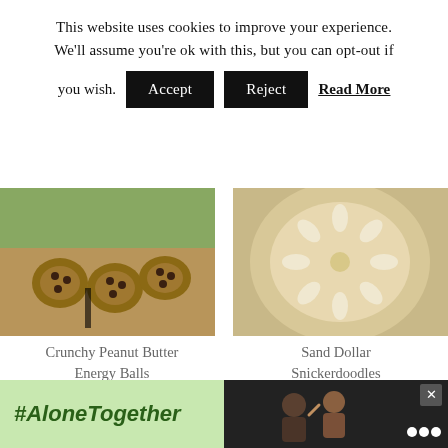This website uses cookies to improve your experience. We'll assume you're ok with this, but you can opt-out if you wish. Accept Reject Read More
[Figure (photo): Close-up photo of crunchy peanut butter energy balls on a baking sheet with chocolate chips]
[Figure (photo): Close-up photo of sand dollar snickerdoodle cookies with almond slivers arranged in a sand dollar pattern]
Crunchy Peanut Butter Energy Balls
Sand Dollar Snickerdoodles
[Figure (photo): Ice cream cones with colorful sprinkles, berries, and fruit pieces in cups]
[Figure (photo): Melted cheese toast with ham and green herbs on a white plate with fork and knife]
#AloneTogether
[Figure (photo): Advertisement showing a man and woman waving and smiling, dark background with Walmart logo]